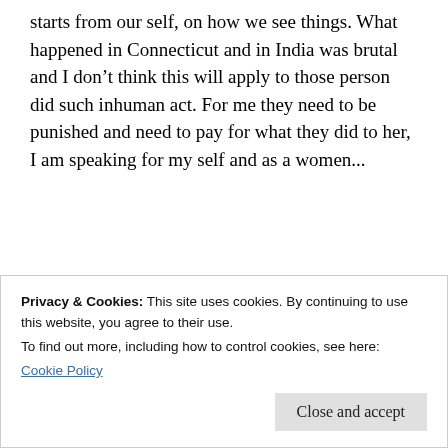starts from our self, on how we see things. What happened in Connecticut and in India was brutal and I don’t think this will apply to those person did such inhuman act. For me they need to be punished and need to pay for what they did to her, I am speaking for my self and as a women...
★ Like
Reply
Privacy & Cookies: This site uses cookies. By continuing to use this website, you agree to their use.
To find out more, including how to control cookies, see here: Cookie Policy
Close and accept